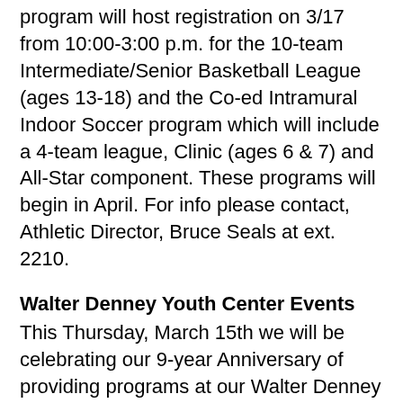program will host registration on 3/17 from 10:00-3:00 p.m. for the 10-team Intermediate/Senior Basketball League (ages 13-18) and the Co-ed Intramural Indoor Soccer program which will include a 4-team league, Clinic (ages 6 & 7) and All-Star component. These programs will begin in April. For info please contact, Athletic Director, Bruce Seals at ext. 2210.
Walter Denney Youth Center Events
This Thursday, March 15th we will be celebrating our 9-year Anniversary of providing programs at our Walter Denney Clubhouse located in the Harbor Point section of Dorchester. Club members and their parents are invited to stop by the Center to take part in a variety of family activities. There will be food, games, tours and more. The following week, on March 20th we will host a Health & Wellness Fair which will also be open to members and their parents. There are also other programs coming in